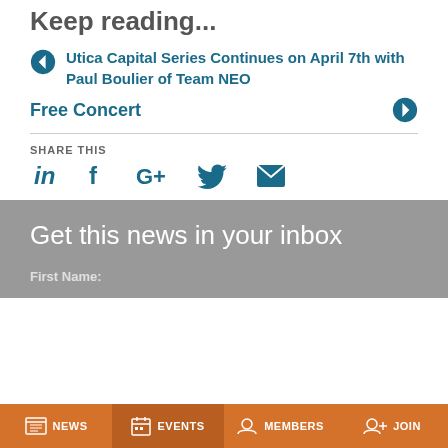Keep reading...
❮ Utica Capital Series Continues on April 7th with Paul Boulier of Team NEO
Free Concert ❯
SHARE THIS
Get this news in your inbox
First Name:
NEWS   EVENTS   MEMBERS   JOIN